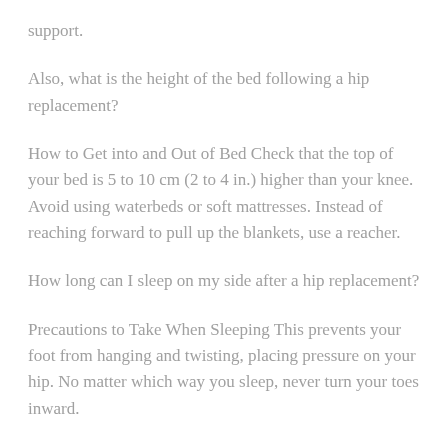support.
Also, what is the height of the bed following a hip replacement?
How to Get into and Out of Bed Check that the top of your bed is 5 to 10 cm (2 to 4 in.) higher than your knee. Avoid using waterbeds or soft mattresses. Instead of reaching forward to pull up the blankets, use a reacher.
How long can I sleep on my side after a hip replacement?
Precautions to Take When Sleeping This prevents your foot from hanging and twisting, placing pressure on your hip. No matter which way you sleep, never turn your toes inward.